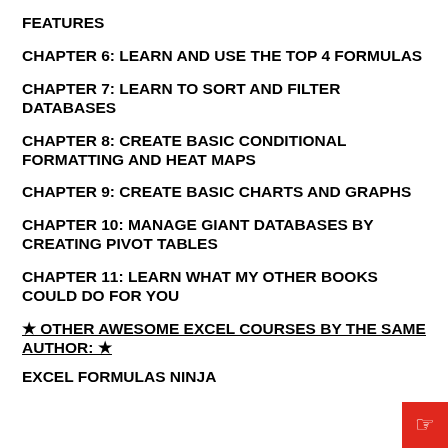FEATURES
CHAPTER 6: LEARN AND USE THE TOP 4 FORMULAS
CHAPTER 7: LEARN TO SORT AND FILTER DATABASES
CHAPTER 8: CREATE BASIC CONDITIONAL FORMATTING AND HEAT MAPS
CHAPTER 9: CREATE BASIC CHARTS AND GRAPHS
CHAPTER 10: MANAGE GIANT DATABASES BY CREATING PIVOT TABLES
CHAPTER 11: LEARN WHAT MY OTHER BOOKS COULD DO FOR YOU
★ OTHER AWESOME EXCEL COURSES BY THE SAME AUTHOR: ★
EXCEL FORMULAS NINJA